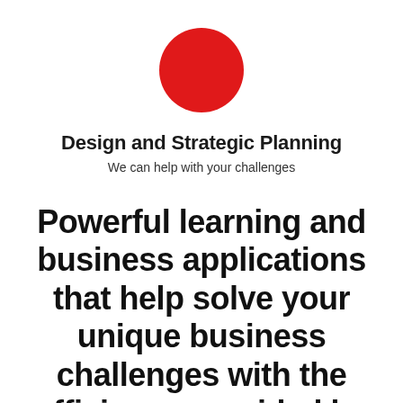[Figure (illustration): A solid red circle (logo/icon) centered near the top of the page]
Design and Strategic Planning
We can help with your challenges
Powerful learning and business applications that help solve your unique business challenges with the efficiency provided by today's cloud-based solutions